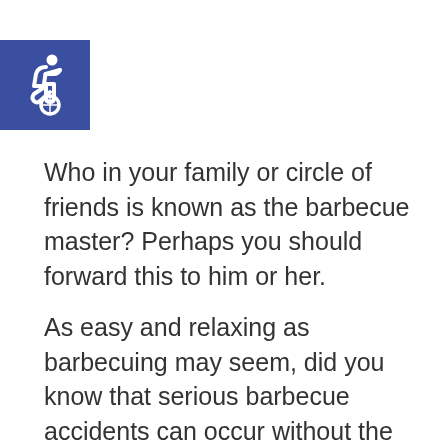[Figure (illustration): Wheelchair accessibility icon — white wheelchair symbol on a blue square background]
Who in your family or circle of friends is known as the barbecue master? Perhaps you should forward this to him or her.
As easy and relaxing as barbecuing may seem, did you know that serious barbecue accidents can occur without the proper safety precautions?